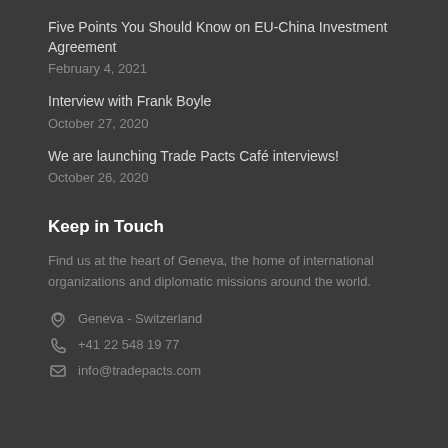Five Points You Should Know on EU-China Investment Agreement
February 4, 2021
Interview with Frank Boyle
October 27, 2020
We are launching Trade Pacts Café interviews!
October 26, 2020
Keep in Touch
Find us at the heart of Geneva, the home of international organizations and diplomatic missions around the world.
Geneva - Switzerland
+41 22 548 19 77
info@tradepacts.com